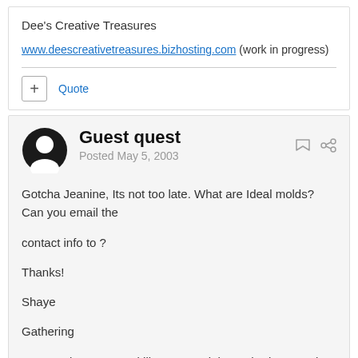Dee's Creative Treasures
www.deescreativetreasures.bizhosting.com (work in progress)
+ Quote
Guest quest
Posted May 5, 2003
Gotcha Jeanine, Its not too late. What are Ideal molds? Can you email the

contact info to ?

Thanks!

Shaye

Gathering

Am I too late to say I'd like to attend the gathering? Spoke with my